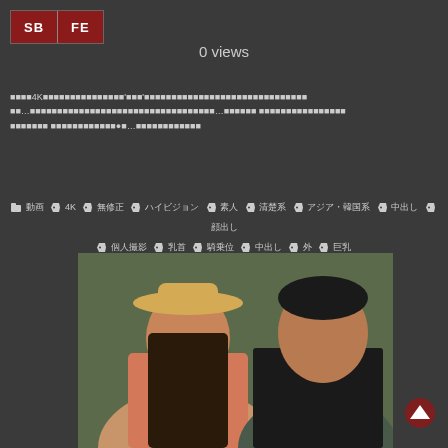[Figure (logo): SB and FE red badge buttons]
0 views
Japanese text description with 4K content tags and ellipses
Tags: 動画, 4K, 無修正, ハイビジョン, 素人, 清楚系, アジア・韓国系, 中出し, 顔出し, 個人撮影, 乳首, 騎乗位, 中出し, 外, 巨乳
[Figure (photo): Photo of a woman in a hat and a man outdoors]